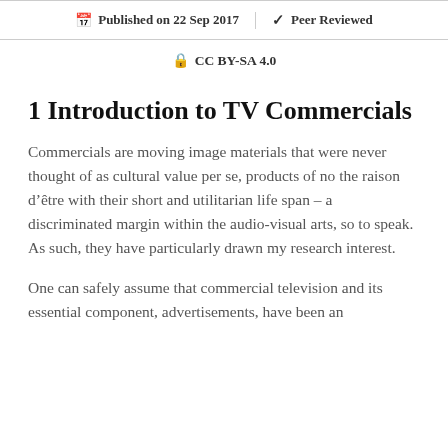Published on 22 Sep 2017 | Peer Reviewed
CC BY-SA 4.0
1 Introduction to TV Commercials
Commercials are moving image materials that were never thought of as cultural value per se, products of no the raison d’être with their short and utilitarian life span – a discriminated margin within the audio-visual arts, so to speak. As such, they have particularly drawn my research interest.
One can safely assume that commercial television and its essential component, advertisements, have been an